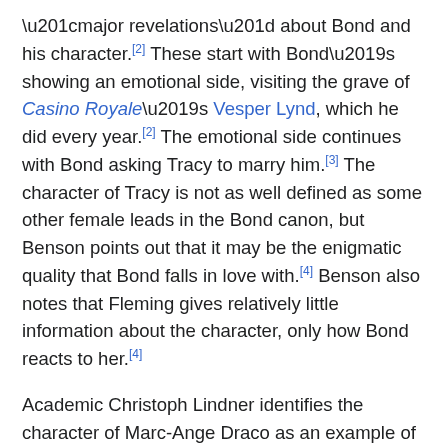“major revelations” about Bond and his character.[2] These start with Bond’s showing an emotional side, visiting the grave of Casino Royale’s Vesper Lynd, which he did every year.[2] The emotional side continues with Bond asking Tracy to marry him.[3] The character of Tracy is not as well defined as some other female leads in the Bond canon, but Benson points out that it may be the enigmatic quality that Bond falls in love with.[4] Benson also notes that Fleming gives relatively little information about the character, only how Bond reacts to her.[4]
Academic Christoph Lindner identifies the character of Marc-Ange Draco as an example of those characters who have morals closer to those of the traditional villains, but who act on the side of good in support of Bond; others of this type include Darko Kerim (From Russia, with Love), Tiger Tanaka (You Only Live Twice) and Enrica Colombo